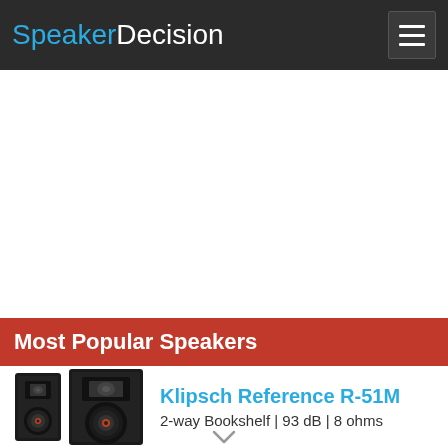SpeakerDecision
[Figure (other): White advertisement/content placeholder area]
Most Popular Speakers
[Figure (photo): Klipsch Reference R-51M bookshelf speaker product image showing two black speakers]
Klipsch Reference R-51M
2-way Bookshelf | 93 dB | 8 ohms